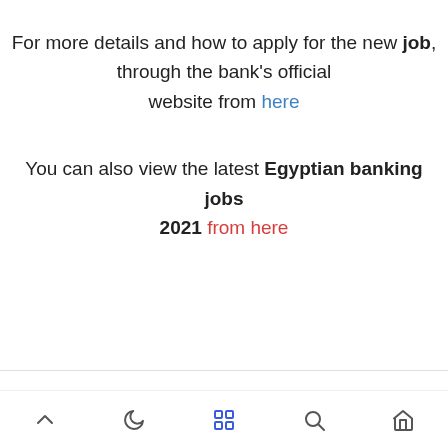For more details and how to apply for the new job, through the bank's official website from here
You can also view the latest Egyptian banking jobs 2021 from here
Banking Jobs
Banking Careers
الأقسام